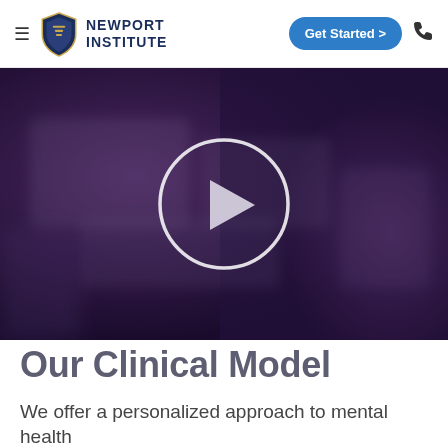Newport Institute — Get Started
[Figure (screenshot): Video thumbnail with a blurred indoor scene (purple/dark tones) and a large circular play button in the center]
Our Clinical Model
We offer a personalized approach to mental health